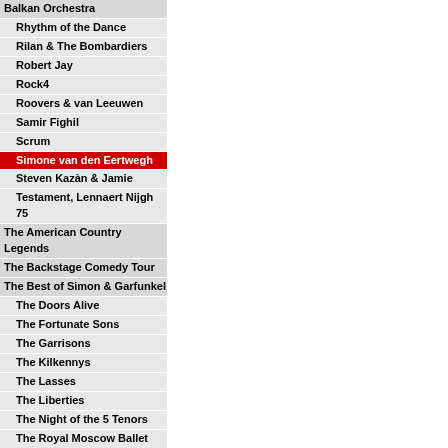Balkan Orchestra
Rhythm of the Dance
Rilan & The Bombardiers
Robert Jay
Rock4
Roovers & van Leeuwen
Samir Fighil
Scrum
Simone van den Eertwegh
Steven Kazàn & Jamie
Testament, Lennaert Nijgh 75
The American Country Legends
The Backstage Comedy Tour
The Best of Simon & Garfunkel
The Doors Alive
The Fortunate Sons
The Garrisons
The Kilkennys
The Lasses
The Liberties
The Night of the 5 Tenors
The Royal Moscow Ballet
The Shamrock Tenors
The Ukrainian National Ballet
The Wanderers
The Wieners
Thomas Smith
Tigre Blanco
Trappen en Grappen
Victor Luis van Es
Victoria Koblenko
Vrouwenkwaaltjes